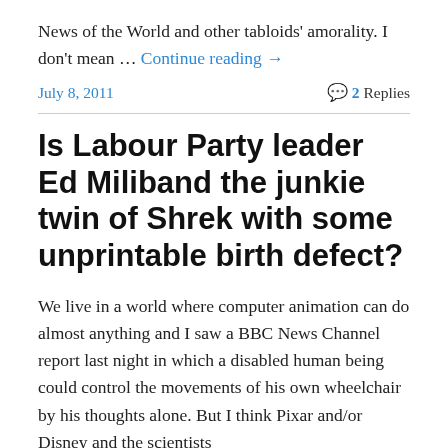News of the World and other tabloids' amorality. I don't mean … Continue reading →
July 8, 2011   2 Replies
Is Labour Party leader Ed Miliband the junkie twin of Shrek with some unprintable birth defect?
We live in a world where computer animation can do almost anything and I saw a BBC News Channel report last night in which a disabled human being could control the movements of his own wheelchair by his thoughts alone. But I think Pixar and/or Disney and the scientists